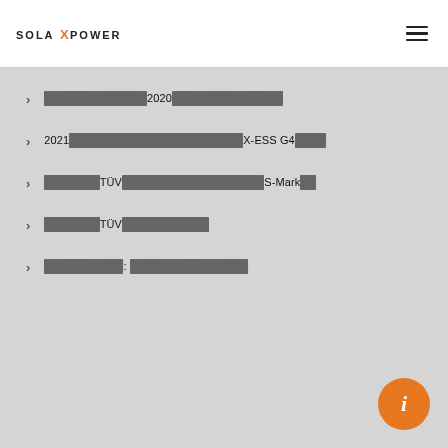SOLAX POWER
░░░░░░░░░░░░░2020░░░░░░░░░░░░░░
2021░░░░░░░░░░░░░░░░░░░░░░░X-ESS G4░░░░
░░░░░░░TÜV░░░░░░░░░░░░░░░░░S-Mark░░
░░░░░░░TÜV░░░░░░░░░░░
░░░░░░░░░░░: ░░░░░░░░░░░░░░░